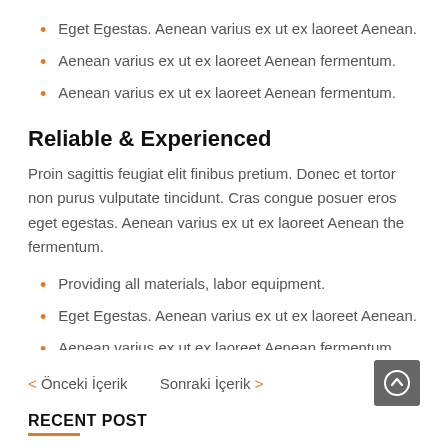Eget Egestas. Aenean varius ex ut ex laoreet Aenean.
Aenean varius ex ut ex laoreet Aenean fermentum.
Aenean varius ex ut ex laoreet Aenean fermentum.
Reliable & Experienced
Proin sagittis feugiat elit finibus pretium. Donec et tortor non purus vulputate tincidunt. Cras congue posuer eros eget egestas. Aenean varius ex ut ex laoreet Aenean the fermentum.
Providing all materials, labor equipment.
Eget Egestas. Aenean varius ex ut ex laoreet Aenean.
Aenean varius ex ut ex laoreet Aenean fermentum.
Aenean varius ex ut ex laoreet Aenean fermentum.
< Önceki İçerik   Sonraki İçerik >   RECENT POST